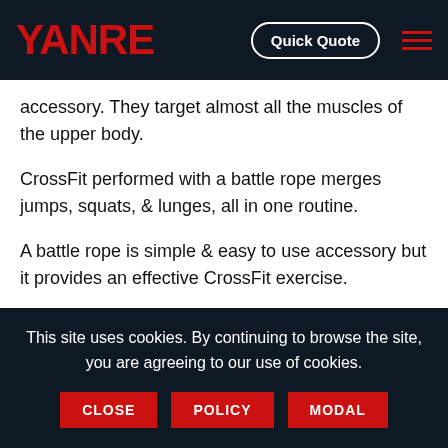YANRE | Quick Quote
accessory. They target almost all the muscles of the upper body.
CrossFit performed with a battle rope merges jumps, squats, & lunges, all in one routine.
A battle rope is simple & easy to use accessory but it provides an effective CrossFit exercise.
Thicker & longer battle ropes perform better than their thi...
This site uses cookies. By continuing to browse the site, you are agreeing to our use of cookies.